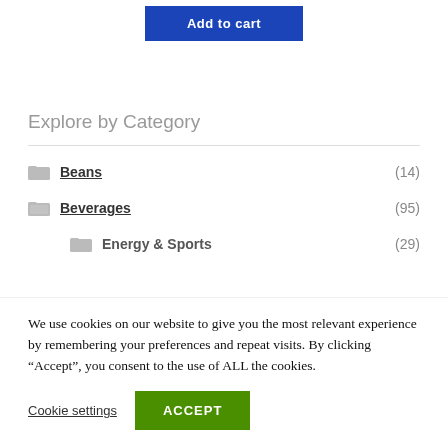[Figure (other): Add to cart button — blue rectangle with white bold text 'Add to cart']
Explore by Category
Beans (14)
Beverages (95)
Energy & Sports (29)
We use cookies on our website to give you the most relevant experience by remembering your preferences and repeat visits. By clicking “Accept”, you consent to the use of ALL the cookies.
Cookie settings  ACCEPT